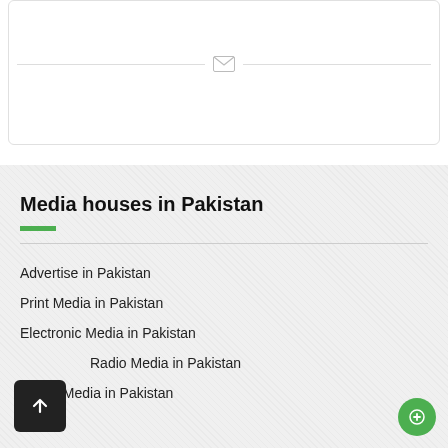[Figure (other): A white card UI element with a horizontal divider line and an envelope/mail icon centered on the divider]
Media houses in Pakistan
Advertise in Pakistan
Print Media in Pakistan
Electronic Media in Pakistan
Radio Media in Pakistan
Digital Media in Pakistan